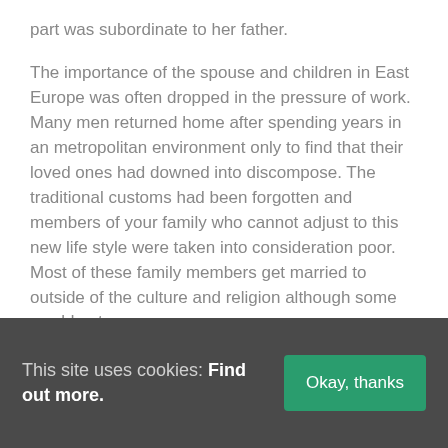part was subordinate to her father.
The importance of the spouse and children in East Europe was often dropped in the pressure of work. Many men returned home after spending years in an metropolitan environment only to find that their loved ones had downed into discompose. The traditional customs had been forgotten and members of your family who cannot adjust to this new life style were taken into consideration poor. Most of these family members get married to outside of the culture and religion although some would not
This site uses cookies: Find out more.